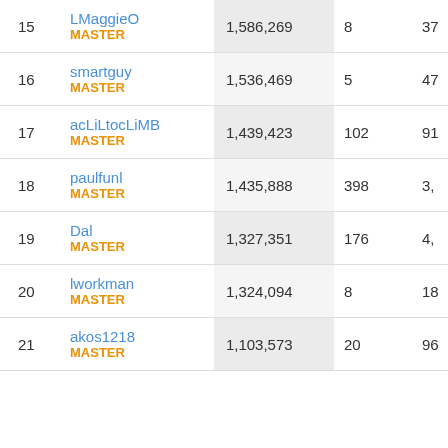| Rank | User | Score | Col3 | Col4 |
| --- | --- | --- | --- | --- |
| 15 | LMaggieO
MASTER | 1,586,269 | 8 | 37 |
| 16 | smartguy
MASTER | 1,536,469 | 5 | 47 |
| 17 | acLiLtocLiMB
MASTER | 1,439,423 | 102 | 91 |
| 18 | paulfunl
MASTER | 1,435,888 | 398 | 3, |
| 19 | Dal
MASTER | 1,327,351 | 176 | 4, |
| 20 | lworkman
MASTER | 1,324,094 | 8 | 18 |
| 21 | akos1218
MASTER | 1,103,573 | 20 | 96 |